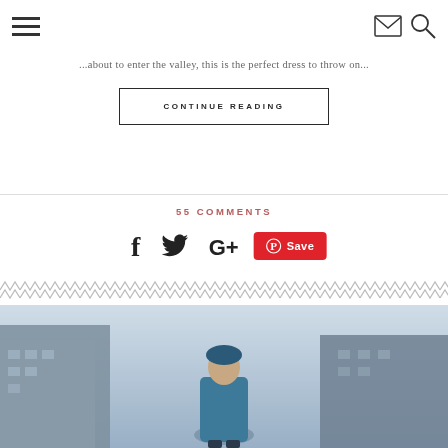Navigation header with hamburger menu, email icon, and search icon
...about to enter the valley, this is the perfect dress to throw on...
CONTINUE READING
55 COMMENTS
[Figure (infographic): Social sharing icons: Facebook (f), Twitter (bird), Google+ (G+), and a red Pinterest Save button]
[Figure (photo): Decorative zigzag chevron banner divider in gray]
[Figure (photo): Bottom portion of a street fashion photo showing a person in a teal/blue outfit in an urban setting with buildings on either side]